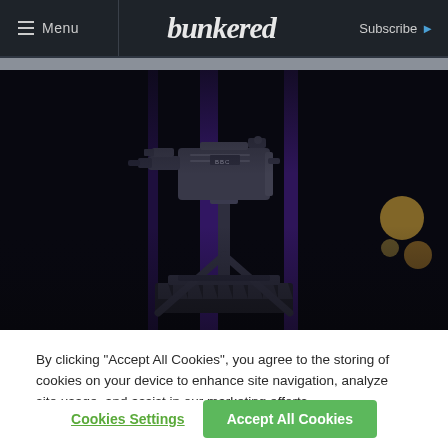Menu | bunkered | Subscribe
[Figure (photo): Dark stage scene with a metallic vintage movie camera on a tripod sitting on a decorative base, with purple vertical light beams and warm bokeh lights in the background]
By clicking “Accept All Cookies”, you agree to the storing of cookies on your device to enhance site navigation, analyze site usage, and assist in our marketing efforts.
Cookies Settings | Accept All Cookies